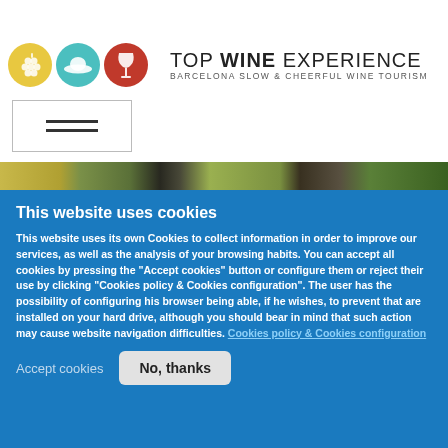[Figure (logo): Top Wine Experience logo with three colored circles (yellow with grape, teal with hat, red with wine glass) and text 'TOP WINE EXPERIENCE - BARCELONA SLOW & CHEERFUL WINE TOURISM']
[Figure (other): Hamburger menu icon (three horizontal lines) in a bordered rectangle]
[Figure (photo): Partial photo strip showing outdoor wine tourism scene with green foliage and gravel]
This website uses cookies
This website uses its own Cookies to collect information in order to improve our services, as well as the analysis of your browsing habits. You can accept all cookies by pressing the "Accept cookies" button or configure them or reject their use by clicking "Cookies policy & Cookies configuration". The user has the possibility of configuring his browser being able, if he wishes, to prevent that are installed on your hard drive, although you should bear in mind that such action may cause website navigation difficulties. Cookies policy & Cookies configuration
Accept cookies
No, thanks